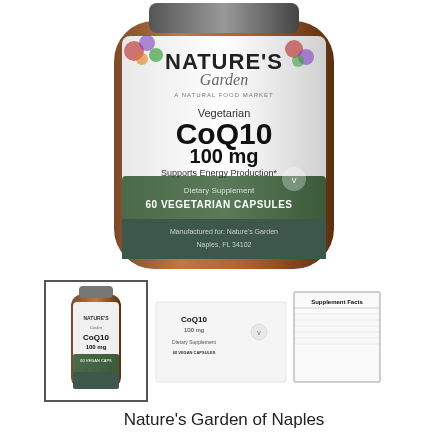[Figure (photo): Close-up photo of Nature's Garden supplement bottle label showing Vegetarian CoQ10 100mg, Supports Energy Production, Dietary Supplement, 60 Vegetarian Capsules, Manufactured for Nature's Garden, Naples FL 34102]
[Figure (photo): Thumbnail of the full supplement bottle with Nature's Garden CoQ10 100mg label]
[Figure (photo): Thumbnail of the back/side of the CoQ10 supplement bottle showing Supplement Facts panel]
Nature's Garden of Naples